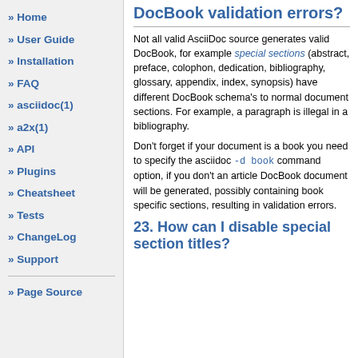Home
User Guide
Installation
FAQ
asciidoc(1)
a2x(1)
API
Plugins
Cheatsheet
Tests
ChangeLog
Support
Page Source
DocBook validation errors?
Not all valid AsciiDoc source generates valid DocBook, for example special sections (abstract, preface, colophon, dedication, bibliography, glossary, appendix, index, synopsis) have different DocBook schema's to normal document sections. For example, a paragraph is illegal in a bibliography.
Don't forget if your document is a book you need to specify the asciidoc -d book command option, if you don't an article DocBook document will be generated, possibly containing book specific sections, resulting in validation errors.
23. How can I disable special section titles?